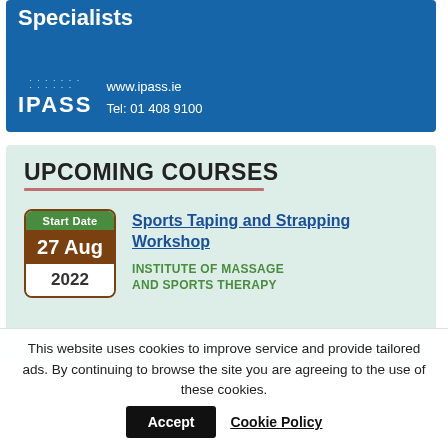[Figure (illustration): IPASS advertisement banner showing a woman in business attire on a blue background, with the IPASS logo, website www.ipass.ie and phone number Tel: 01 408 9100. Text reads 'Specialists'.]
UPCOMING COURSES
Sports Taping and Strapping Workshop
INSTITUTE OF MASSAGE AND SPORTS THERAPY
Start Date: 27 Aug 2022
This website uses cookies to improve service and provide tailored ads. By continuing to browse the site you are agreeing to the use of these cookies.